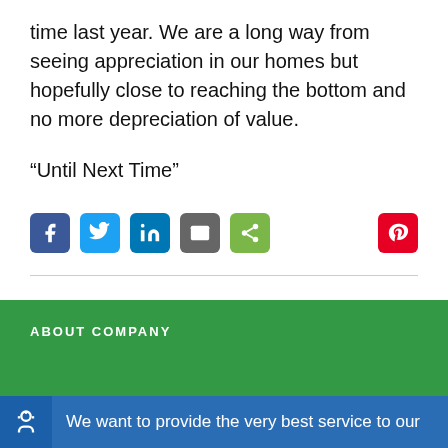time last year. We are a long way from seeing appreciation in our homes but hopefully close to reaching the bottom and no more depreciation of value.
“Until Next Time”
[Figure (other): Social sharing icons: Facebook, Twitter, LinkedIn, Email, Share, and Pinterest]
ABOUT COMPANY
We want to provide the very best service to our